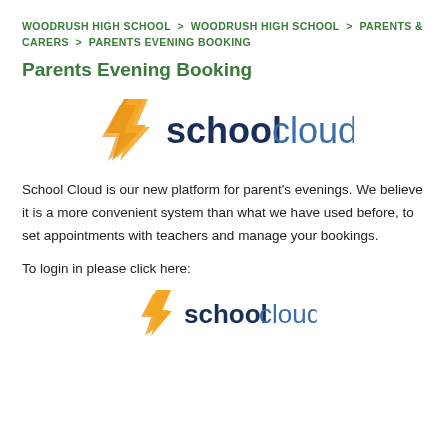WOODRUSH HIGH SCHOOL > WOODRUSH HIGH SCHOOL > PARENTS & CARERS > PARENTS EVENING BOOKING
Parents Evening Booking
[Figure (logo): School Cloud logo — orange lightning bolt icon with 'school' in dark navy bold and 'cloud' in lighter navy, large size]
School Cloud is our new platform for parent's evenings. We believe it is a more convenient system than what we have used before, to set appointments with teachers and manage your bookings.
To login in please click here:
[Figure (logo): School Cloud logo — orange lightning bolt icon with 'school' in dark navy bold and 'cloud' in lighter navy, small size]